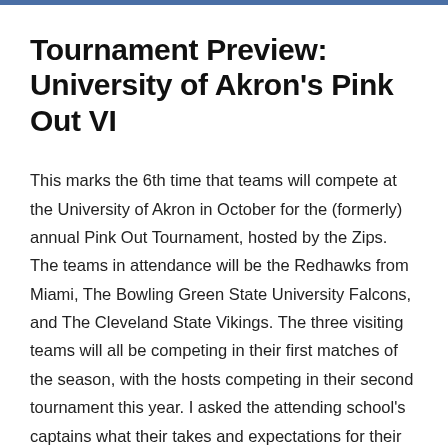Tournament Preview: University of Akron's Pink Out VI
This marks the 6th time that teams will compete at the University of Akron in October for the (formerly) annual Pink Out Tournament, hosted by the Zips. The teams in attendance will be the Redhawks from Miami, The Bowling Green State University Falcons, and The Cleveland State Vikings. The three visiting teams will all be competing in their first matches of the season, with the hosts competing in their second tournament this year. I asked the attending school's captains what their takes and expectations for their